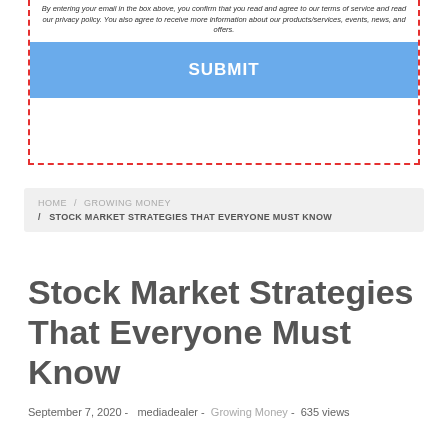By entering your email in the box above, you confirm that you read and agree to our terms of service and read our privacy policy. You also agree to receive more information about our products/services, events, news, and offers.
[Figure (screenshot): Blue SUBMIT button inside a red dashed border box]
HOME / GROWING MONEY / STOCK MARKET STRATEGIES THAT EVERYONE MUST KNOW
Stock Market Strategies That Everyone Must Know
September 7, 2020 - mediadealer - Growing Money - 635 views